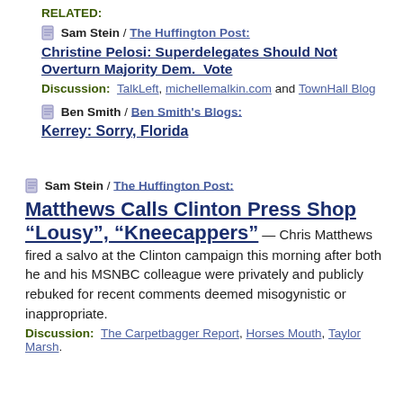RELATED:
Sam Stein / The Huffington Post: Christine Pelosi: Superdelegates Should Not Overturn Majority Dem. Vote
Discussion: TalkLeft, michellemalkin.com and TownHall Blog
Ben Smith / Ben Smith's Blogs: Kerrey: Sorry, Florida
Sam Stein / The Huffington Post: Matthews Calls Clinton Press Shop “Lousy”, “Kneecappers” — Chris Matthews fired a salvo at the Clinton campaign this morning after both he and his MSNBC colleague were privately and publicly rebuked for recent comments deemed misogynistic or inappropriate.
Discussion: The Carpetbagger Report, Horses Mouth, Taylor Marsh.